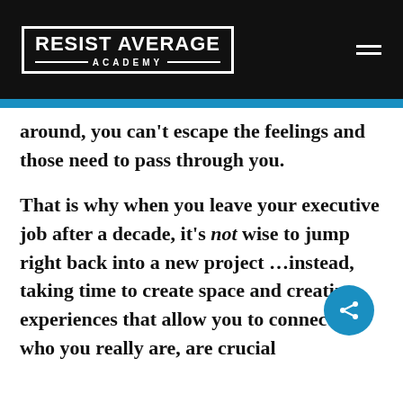[Figure (logo): Resist Average Academy logo — white text in a white-bordered box with ACADEMY below, on a black header bar]
around, you can't escape the feelings and those need to pass through you.
That is why when you leave your executive job after a decade, it's not wise to jump right back into a new project …instead, taking time to create space and creating experiences that allow you to connect to who you really are, are crucial